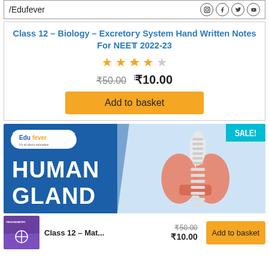/Edufever
Class 12 – Biology – Excretory System Hand Written Notes For NEET 2022-23
★★★★☆
₹50.00  ₹10.00
Add to basket
[Figure (illustration): Edufever banner showing Human Gland with thyroid gland image and SALE! badge]
Class 12 – Mat...  ₹50.00  ₹10.00  Add to basket